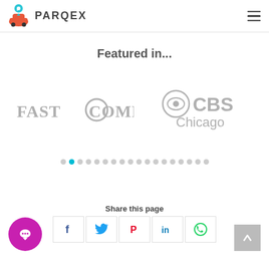PARQEX
Featured in...
[Figure (logo): Fast Company logo in gray]
[Figure (logo): CBS Chicago logo in gray]
[Figure (other): Carousel dot navigation with 18 dots, second dot active (cyan)]
Share this page
[Figure (other): Social share buttons: Facebook, Twitter, Pinterest, LinkedIn, WhatsApp]